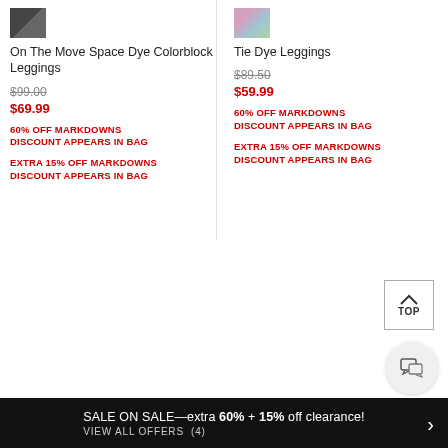[Figure (photo): Small thumbnail image of On The Move Space Dye Colorblock Leggings, dark colored]
On The Move Space Dye Colorblock Leggings
$99.00 (strikethrough) $69.99
60% OFF MARKDOWNS DISCOUNT APPEARS IN BAG
EXTRA 15% OFF MARKDOWNS DISCOUNT APPEARS IN BAG
[Figure (photo): Small thumbnail image of Tie Dye Leggings, colorful tie dye pattern]
Tie Dye Leggings
$89.50 (strikethrough) $59.99
60% OFF MARKDOWNS DISCOUNT APPEARS IN BAG
EXTRA 15% OFF MARKDOWNS DISCOUNT APPEARS IN BAG
SALE ON SALE—extra 60% + 15% off clearance! VIEW ALL OFFERS (4)